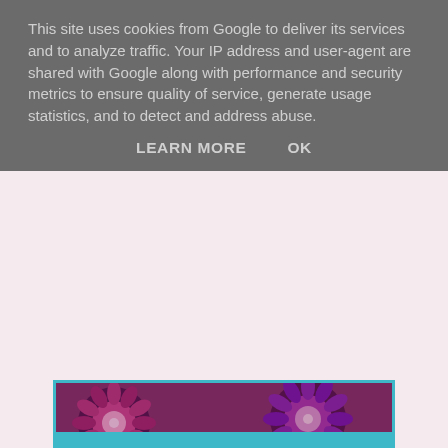This site uses cookies from Google to deliver its services and to analyze traffic. Your IP address and user-agent are shared with Google along with performance and security metrics to ensure quality of service, generate usage statistics, and to detect and address abuse.
LEARN MORE    OK
[Figure (photo): Close-up photograph of a crocheted plum starburst flower blanket showing circular flower motifs in purple, pink, mauve and white colors arranged in a granny square pattern.]
I am working on a plum starburst flower blanket which is an order (Pattern by Jane Brocket in the book The simple art of knitting)